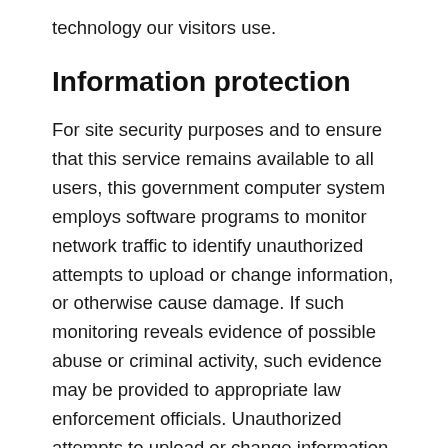technology our visitors use.
Information protection
For site security purposes and to ensure that this service remains available to all users, this government computer system employs software programs to monitor network traffic to identify unauthorized attempts to upload or change information, or otherwise cause damage. If such monitoring reveals evidence of possible abuse or criminal activity, such evidence may be provided to appropriate law enforcement officials. Unauthorized attempts to upload or change information on this server are strictly prohibited and may be punishable under the Computer Fraud and Abuse Act of 1986 and